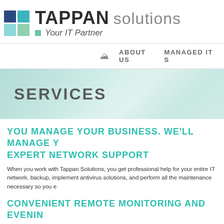[Figure (logo): Tappan Solutions logo with colored grid icon, bold TAPPAN text, lighter solutions text, and Your IT Partner tagline]
🏠  ABOUT US   MANAGED IT S
[Figure (illustration): Banner with teal/mint watercolor-style background and SERVICES text]
YOU MANAGE YOUR BUSINESS. WE'LL MANAGE Y EXPERT NETWORK SUPPORT
When you work with Tappan Solutions, you get professional help for your entire IT network. backup, implement antivirus solutions, and perform all the maintenance necessary so you e
CONVENIENT REMOTE MONITORING AND EVENIN
Better yet, we can remotely monitor your network to ensure it runs smoothly – and catch p